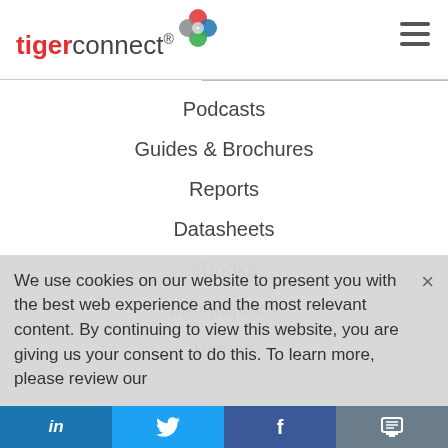[Figure (logo): TigerConnect logo with flower/clover icon in red, blue, green above the text 'tigerconnect' with registered trademark symbol]
Podcasts
Guides & Brochures
Reports
Datasheets
eBooks
Infographics
Videos
We use cookies on our website to present you with the best web experience and the most relevant content. By continuing to view this website, you are giving us your consent to do this. To learn more, please review our
in  [twitter bird]  f  [printer icon]